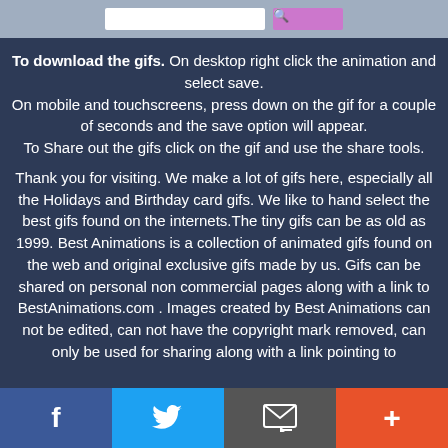[Search bar with input field and search button]
To download the gifs. On desktop right click the animation and select save. On mobile and touchscreens, press down on the gif for a couple of seconds and the save option will appear. To Share out the gifs click on the gif and use the share tools.
Thank you for visiting. We make a lot of gifs here, especially all the Holidays and Birthday card gifs. We like to hand select the best gifs found on the internets.The tiny gifs can be as old as 1999. Best Animations is a collection of animated gifs found on the web and original exclusive gifs made by us. Gifs can be shared on personal non commercial pages along with a link to BestAnimations.com . Images created by Best Animations can not be edited, can not have the copyright mark removed, can only be used for sharing along with a link pointing to
Facebook | Twitter | Email | +